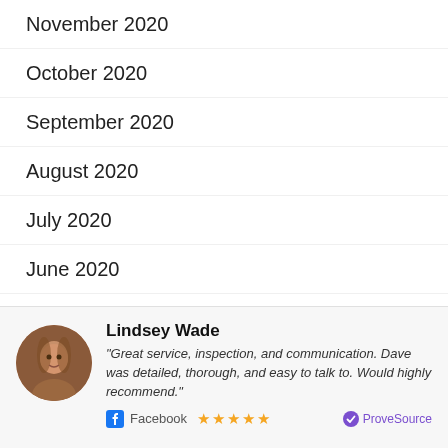November 2020
October 2020
September 2020
August 2020
July 2020
June 2020
April 2020
March 2020
February 2020
January 2020
Lindsey Wade — "Great service, inspection, and communication. Dave was detailed, thorough, and easy to talk to. Would highly recommend." — Facebook ★★★★★ — ProveSource